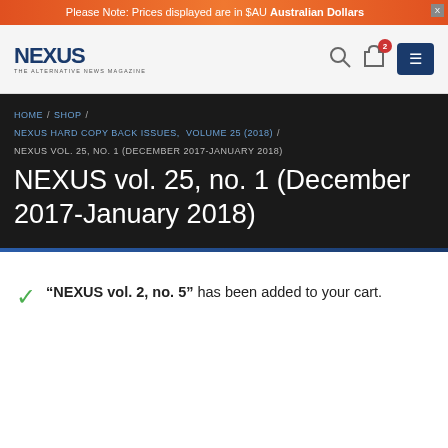Please Note: Prices displayed are in $AU Australian Dollars
[Figure (logo): NEXUS - The Alternative News Magazine logo]
HOME / SHOP / NEXUS HARD COPY BACK ISSUES, VOLUME 25 (2018) / NEXUS VOL. 25, NO. 1 (DECEMBER 2017-JANUARY 2018)
NEXUS vol. 25, no. 1 (December 2017-January 2018)
“NEXUS vol. 2, no. 5” has been added to your cart.